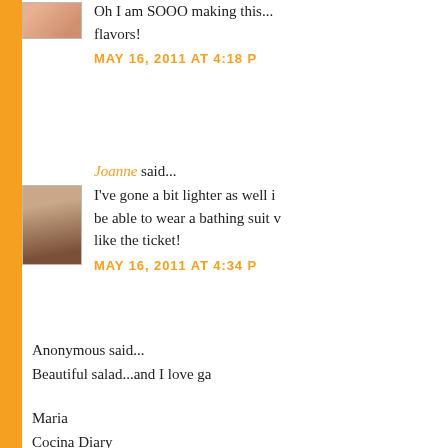Oh I am SOOO making this... flavors!
MAY 16, 2011 AT 4:18 P
Joanne said...
I've gone a bit lighter as well i... be able to wear a bathing suit ... like the ticket!
MAY 16, 2011 AT 4:34 P
Anonymous said...
Beautiful salad...and I love ga
Maria
Cocina Diary
MAY 16, 2011 AT 7:53 P
Patricia @ ButterYum said...